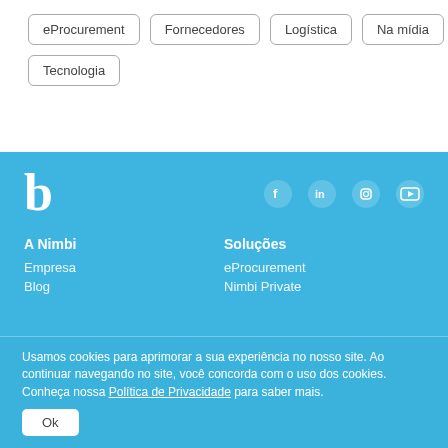eProcurement
Fornecedores
Logística
Na mídia
Tecnologia
A Nimbi | Soluções | Empresa | Blog | eProcurement | Nimbi Private
Usamos cookies para aprimorar a sua experiência no nosso site. Ao continuar navegando no site, você concorda com o uso dos cookies. Conheça nossa Política de Privacidade para saber mais.